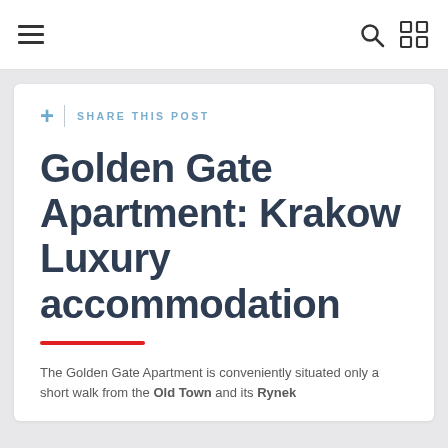Navigation bar with hamburger menu, search icon, and grid icon
SHARE THIS POST
Golden Gate Apartment: Krakow Luxury accommodation
The Golden Gate Apartment is conveniently situated only a short walk from the Old Town and its Rynek